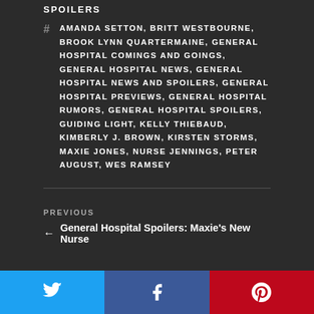SPOILERS
AMANDA SETTON, BRITT WESTBOURNE, BROOK LYNN QUARTERMAINE, GENERAL HOSPITAL COMINGS AND GOINGS, GENERAL HOSPITAL NEWS, GENERAL HOSPITAL NEWS AND SPOILERS, GENERAL HOSPITAL PREVIEWS, GENERAL HOSPITAL RUMORS, GENERAL HOSPITAL SPOILERS, GUIDING LIGHT, KELLY THIEBAUD, KIMBERLY J. BROWN, KIRSTEN STORMS, MAXIE JONES, NURSE JENNINGS, PETER AUGUST, WES RAMSEY
PREVIOUS
← General Hospital Spoilers: Maxie's New Nurse